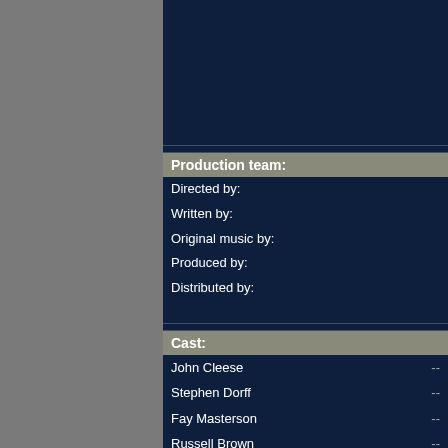Production team:
Directed by:
Written by:
Original music by:
Produced by:
Distributed by:
Cast:
John Cleese --
Stephen Dorff --
Fay Masterson --
Russell Brown --
Wendy Worthington --
This Quantum Project movie multimedia and... Project pictures, Quantum Project links... eve
Also, share your thoughts or write your own r